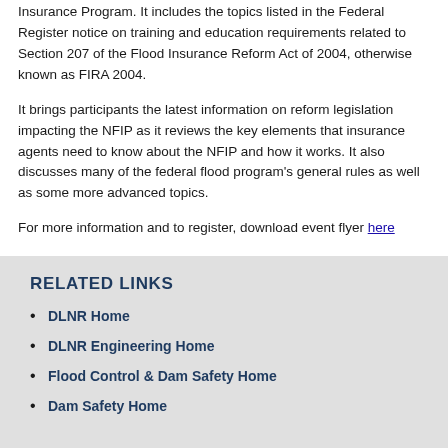Insurance Program. It includes the topics listed in the Federal Register notice on training and education requirements related to Section 207 of the Flood Insurance Reform Act of 2004, otherwise known as FIRA 2004.
It brings participants the latest information on reform legislation impacting the NFIP as it reviews the key elements that insurance agents need to know about the NFIP and how it works. It also discusses many of the federal flood program's general rules as well as some more advanced topics.
For more information and to register, download event flyer here
RELATED LINKS
DLNR Home
DLNR Engineering Home
Flood Control & Dam Safety Home
Dam Safety Home